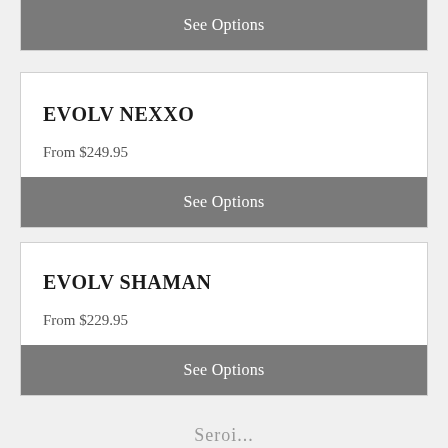See Options
EVOLV NEXXO
From $249.95
See Options
EVOLV SHAMAN
From $229.95
See Options
Seroi...